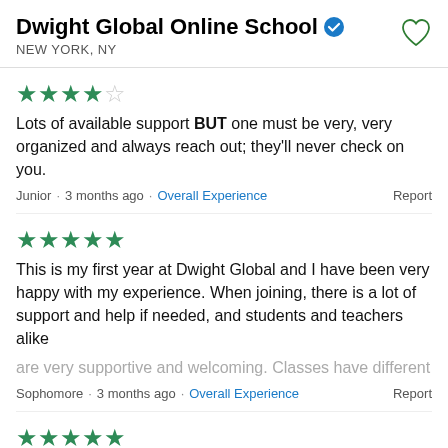Dwight Global Online School
NEW YORK, NY
★★★★☆
Lots of available support BUT one must be very, very organized and always reach out; they'll never check on you.
Junior · 3 months ago · Overall Experience  Report
★★★★★
This is my first year at Dwight Global and I have been very happy with my experience. When joining, there is a lot of support and help if needed, and students and teachers alike are very supportive and welcoming. Classes have different
Sophomore · 3 months ago · Overall Experience  Report
★★★★★
This is my first year at Dwight Global and I have been very happy with my experience. When joining, there is a lot of